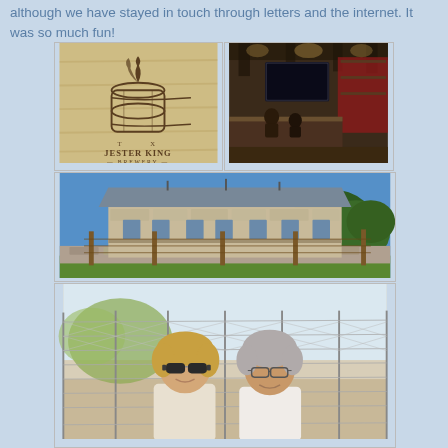although we have stayed in touch through letters and the internet. It was so much fun!
[Figure (photo): Jester King Brewery logo on aged wood background — barrel with decorative flame/scroll on top, text reading T X / JESTER KING / — BREWERY —]
[Figure (photo): Interior of Jester King Brewery — rustic wooden space with large TV screen, bar seating, wooden beams, patrons visible]
[Figure (photo): Exterior of Jester King Brewery building — long stone/limestone building with metal roof, wooden fence posts in foreground, blue sky, trees in background]
[Figure (photo): Two women smiling behind a wire fence outdoors — left woman has blond hair and sunglasses, right woman has gray hair and glasses]